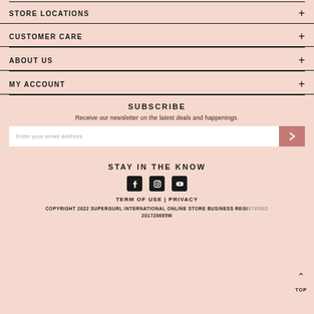STORE LOCATIONS
CUSTOMER CARE
ABOUT US
MY ACCOUNT
SUBSCRIBE
Receive our newsletter on the latest deals and happenings.
Enter your email address
STAY IN THE KNOW
TERM OF USE | PRIVACY
COPYRIGHT 2022 SUPERGURL INTERNATIONAL ONLINE STORE BUSINESS REGISTERED 201720685W